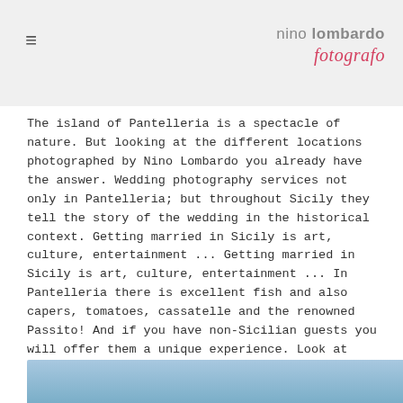nino lombardo fotografo
The island of Pantelleria is a spectacle of nature. But looking at the different locations photographed by Nino Lombardo you already have the answer. Wedding photography services not only in Pantelleria; but throughout Sicily they tell the story of the wedding in the historical context. Getting married in Sicily is art, culture, entertainment ... Getting married in Sicily is art, culture, entertainment ... In Pantelleria there is excellent fish and also capers, tomatoes, cassatelle and the renowned Passito! And if you have non-Sicilian guests you will offer them a unique experience. Look at some of the wedding venues in Sicily already photographed by Nino and get inspired!
[Figure (photo): Blue sky photo strip at bottom of page]